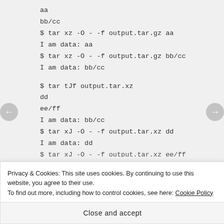aa
bb/cc
$ tar xz -O - -f output.tar.gz aa
I am data: aa
$ tar xz -O - -f output.tar.gz bb/cc
I am data: bb/cc
$ tar tJf output.tar.xz
dd
ee/ff
I am data: bb/cc
$ tar xJ -O - -f output.tar.xz dd
I am data: dd
$ tar xJ -O - -f output.tar.xz ee/ff
Privacy & Cookies: This site uses cookies. By continuing to use this website, you agree to their use.
To find out more, including how to control cookies, see here: Cookie Policy
Close and accept